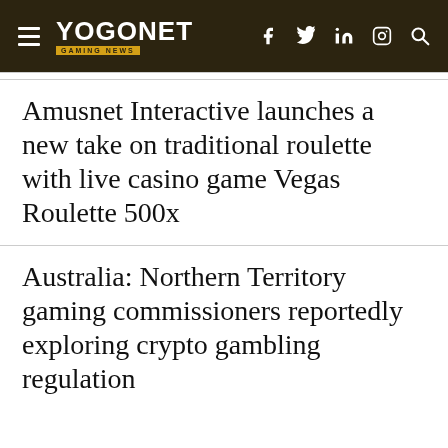YOGONET GAMING NEWS
Amusnet Interactive launches a new take on traditional roulette with live casino game Vegas Roulette 500x
Australia: Northern Territory gaming commissioners reportedly exploring crypto gambling regulation